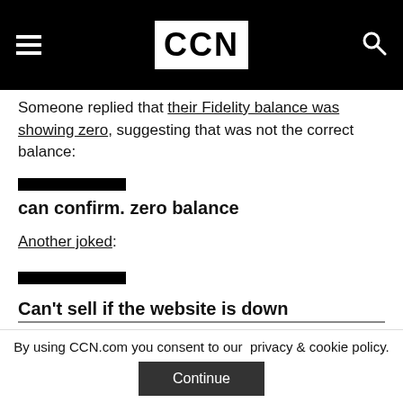CCN
Someone replied that their Fidelity balance was showing zero, suggesting that was not the correct balance:
[Figure (other): Black redacted bar covering username]
can confirm. zero balance
Another joked:
[Figure (other): Black redacted bar covering username]
Can't sell if the website is down
By using CCN.com you consent to our privacy & cookie policy.
Continue